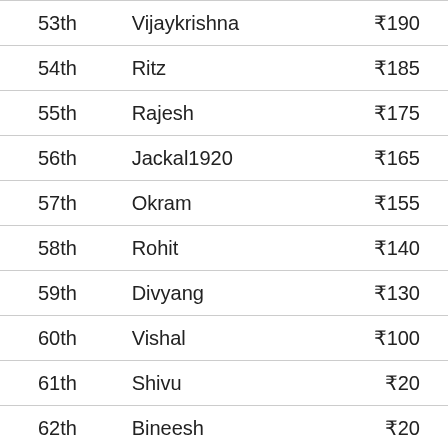| Rank | Name | Prize |
| --- | --- | --- |
| 53th | Vijaykrishna | ₹190 |
| 54th | Ritz | ₹185 |
| 55th | Rajesh | ₹175 |
| 56th | Jackal1920 | ₹165 |
| 57th | Okram | ₹155 |
| 58th | Rohit | ₹140 |
| 59th | Divyang | ₹130 |
| 60th | Vishal | ₹100 |
| 61th | Shivu | ₹20 |
| 62th | Bineesh | ₹20 |
| 63th | Anishthankachan | ₹20 |